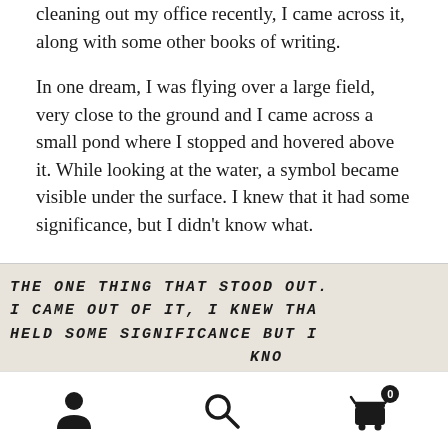cleaning out my office recently, I came across it, along with some other books of writing.
In one dream, I was flying over a large field, very close to the ground and I came across a small pond where I stopped and hovered above it. While looking at the water, a symbol became visible under the surface. I knew that it had some significance, but I didn't know what.
[Figure (photo): Handwritten journal text on paper with a sketch of grass/nature at the bottom. Text reads: THE ONE THING THAT STOOD OUT. I CAME OUT OF IT, I KNEW THA HELD SOME SIGNIFICANCE BUT I KNO IT]
Navigation bar with person icon, search icon, and cart icon with badge showing 0